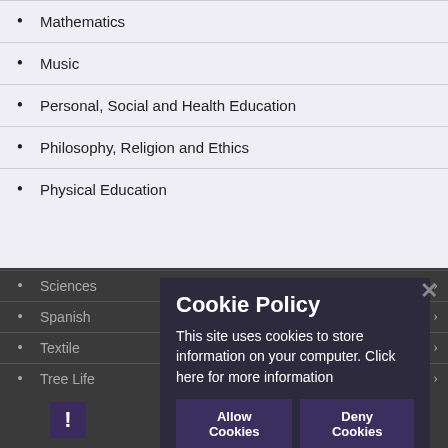Mathematics
Music
Personal, Social and Health Education
Philosophy, Religion and Ethics
Physical Education
Sciences
Spanish
Textile
Tree Life
Cookie Policy
This site uses cookies to store information on your computer. Click here for more information
Allow Cookies   Deny Cookies